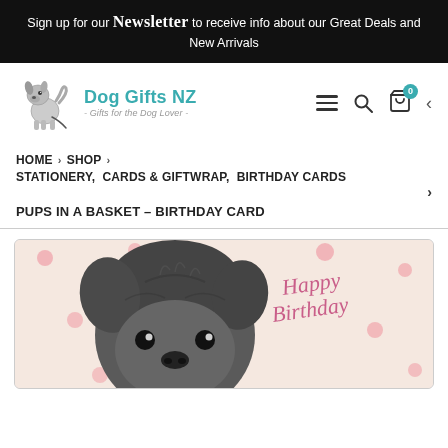Sign up for our Newsletter to receive info about our Great Deals and New Arrivals
[Figure (logo): Dog Gifts NZ logo with dog silhouette and tagline 'Gifts for the Dog Lover']
[Figure (infographic): Navigation icons: hamburger menu, search icon, shopping cart with badge '0', dropdown chevron]
HOME > SHOP > STATIONERY, CARDS & GIFTWRAP, BIRTHDAY CARDS > PUPS IN A BASKET – BIRTHDAY CARD
PUPS IN A BASKET – BIRTHDAY CARD
[Figure (photo): Close-up photo of a fluffy dark puppy face looking up at the camera, with a pink polka dot background and pink cursive 'Happy Birthday' text on the right side of the card]